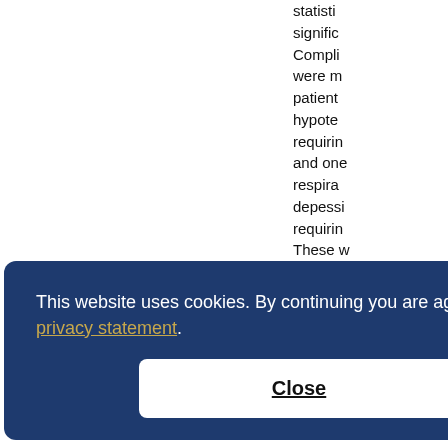statistically significant. Complications were monitored; patients with hypotension requiring vasopressors and one patient with respiratory depession requiring intubation. These were stat. associated with an experimental group. Limitations of this article; this study was designed without adequate sample size. An
This website uses cookies. By continuing you are agreeing to our privacy statement.
Close